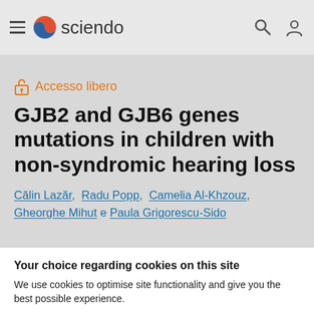sciendo
Accesso libero
GJB2 and GJB6 genes mutations in children with non-syndromic hearing loss
Călin Lazăr, Radu Popp, Camelia Al-Khzouz, Gheorghe Mihut e Paula Grigorescu-Sido
Your choice regarding cookies on this site
We use cookies to optimise site functionality and give you the best possible experience.